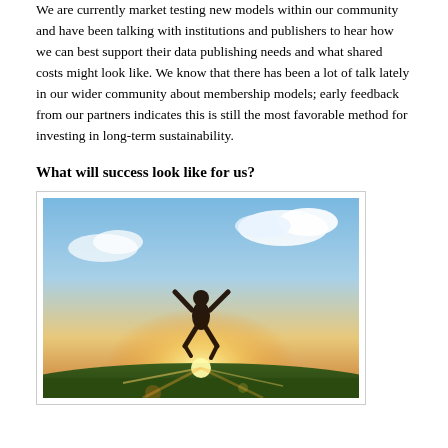We are currently market testing new models within our community and have been talking with institutions and publishers to hear how we can best support their data publishing needs and what shared costs might look like. We know that there has been a lot of talk lately in our wider community about membership models; early feedback from our partners indicates this is still the most favorable method for investing in long-term sustainability.
What will success look like for us?
[Figure (photo): Silhouette of a person jumping joyfully with arms raised against a bright sunset sky with clouds, standing above a grassy hillside with sun rays creating lens flare at the bottom.]